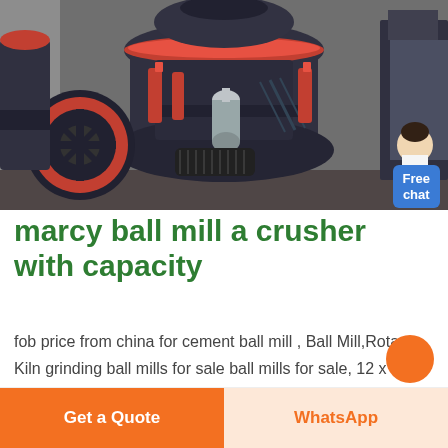[Figure (photo): Industrial machinery — large gray and red cone crusher / ball mill equipment on a factory floor. Multiple units visible, with hydraulic cylinders, red accents, and a silver tank. Small avatar of a woman in white top visible at top right corner.]
marcy ball mill a crusher with capacity
fob price from china for cement ball mill , Ball Mill,Rotary Kiln grinding ball mills for sale ball mills for sale, 12 x 14 marcy, 6 x 10 denver, 22 x 7 sag.